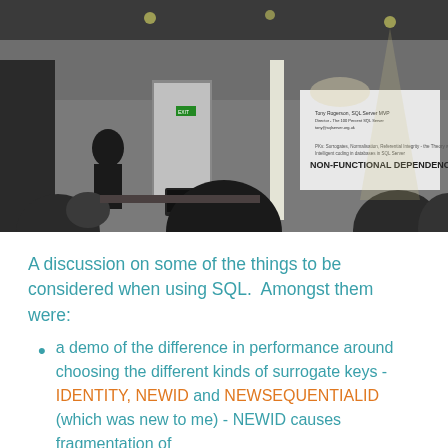[Figure (photo): Black and white photograph of a conference room presentation. A presenter stands at the left near a projection screen showing 'NON-FUNCTIONAL DEPENDENCIES'. Audience members are seated with their backs to the camera.]
A discussion on some of the things to be considered when using SQL.  Amongst them were:
a demo of the difference in performance around choosing the different kinds of surrogate keys - IDENTITY, NEWID and NEWSEQUENTIALID (which was new to me) - NEWID causes fragmentation of